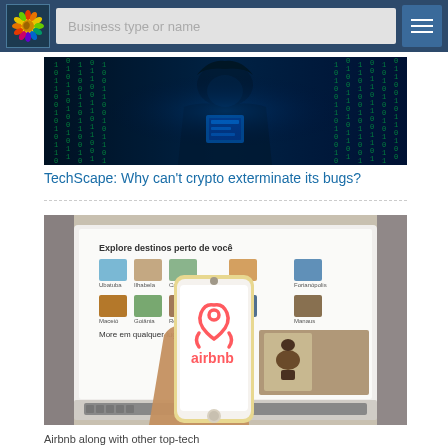Business type or name
[Figure (screenshot): Dark hacker image with binary code matrix background and hooded figure silhouette]
TechScape: Why can't crypto exterminate its bugs?
[Figure (photo): Hand holding smartphone with Airbnb app/logo in front of laptop showing Airbnb website with 'Explore destinos perto de você' text]
Airbnb along with other top-tech